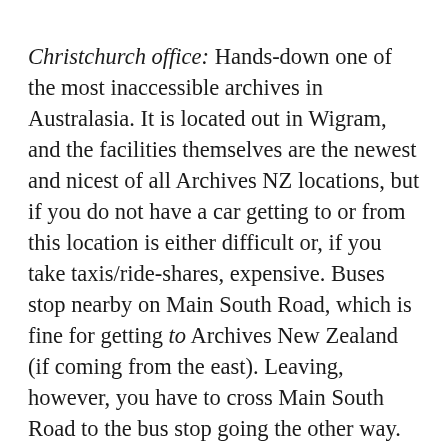Christchurch office: Hands-down one of the most inaccessible archives in Australasia. It is located out in Wigram, and the facilities themselves are the newest and nicest of all Archives NZ locations, but if you do not have a car getting to or from this location is either difficult or, if you take taxis/ride-shares, expensive. Buses stop nearby on Main South Road, which is fine for getting to Archives New Zealand (if coming from the east). Leaving, however, you have to cross Main South Road to the bus stop going the other way. This area is not designed for pedestrians: you can either take your life into your hands crossing this busy arterial road or follow a circuitous route via mostly protected crossings at the Springs Road intersection